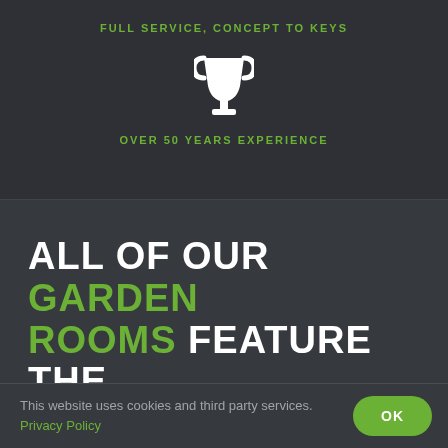FULL SERVICE, CONCEPT TO KEYS
[Figure (illustration): White trophy cup icon]
OVER 50 YEARS EXPERIENCE
ALL OF OUR GARDEN ROOMS FEATURE THE FOLLOWING AS STANDARD
This website uses cookies and third party services. Privacy Policy